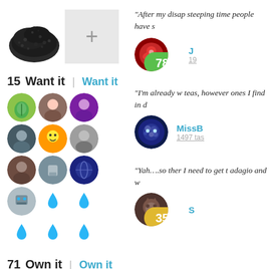[Figure (photo): Product image of loose leaf black tea]
[Figure (other): Plus sign box for adding another photo]
15 Want it | Want it
[Figure (other): Grid of user avatars for Want it section - 13 avatars plus droplets]
71 Own it | Own it
[Figure (other): Grid of user avatars for Own it section - 16 avatars plus +56]
“After my disap steeping time people have s
[Figure (other): Reviewer avatar with red rose and green score badge showing 78]
J
19
“I’m already w teas, however ones I find in d
[Figure (other): Reviewer avatar MissB with cosmic/galaxy style image]
MissB
1497 tas
“Yah….so ther I need to get t adagio and w
[Figure (other): Reviewer avatar with gold score badge showing 35]
S